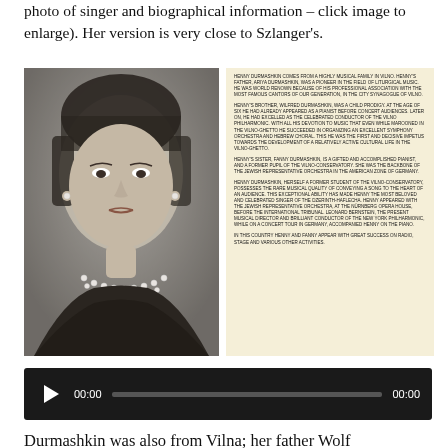photo of singer and biographical information – click image to enlarge). Her version is very close to Szlanger's.
[Figure (photo): Left side: black and white portrait photo of a woman (Henny Durmashkin), facing slightly left, wearing pearls. Right side: aged document with small printed biographical text about the Durmashkin family in all caps.]
[Figure (other): Audio player with play button, 00:00 timestamp, progress bar, and 00:00 end time on dark background]
Durmashkin was also from Vilna; her father Wolf Durmashkin was a Vilna conductor before the war and in the ghetto. Henny's sister Fanny Durmashkin